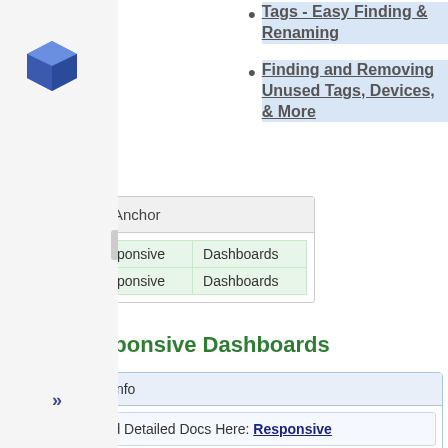[Figure (logo): Blue 3D cube logo]
Tags - Easy Finding & Renaming
Finding and Removing Unused Tags, Devices, & More
[Figure (screenshot): Anchor navigation widget showing two rows: Responsive Dashboards, Responsive Dashboards]
Responsive Dashboards
Info
Find Detailed Docs Here: Responsive